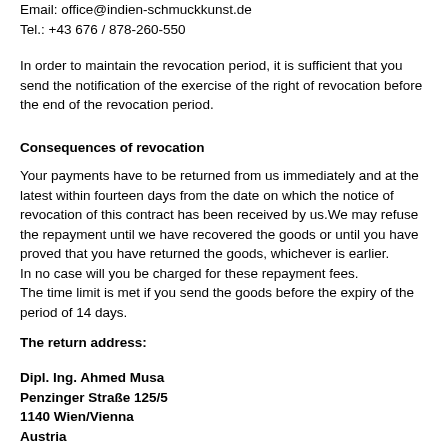Email: office@indien-schmuckkunst.de
Tel.: +43 676 / 878-260-550
In order to maintain the revocation period, it is sufficient that you send the notification of the exercise of the right of revocation before the end of the revocation period.
Consequences of revocation
Your payments have to be returned from us immediately and at the latest within fourteen days from the date on which the notice of revocation of this contract has been received by us.We may refuse the repayment until we have recovered the goods or until you have proved that you have returned the goods, whichever is earlier.
In no case will you be charged for these repayment fees.
The time limit is met if you send the goods before the expiry of the period of 14 days.
The return address:
Dipl. Ing. Ahmed Musa
Penzinger Straße 125/5
1140 Wien/Vienna
Austria